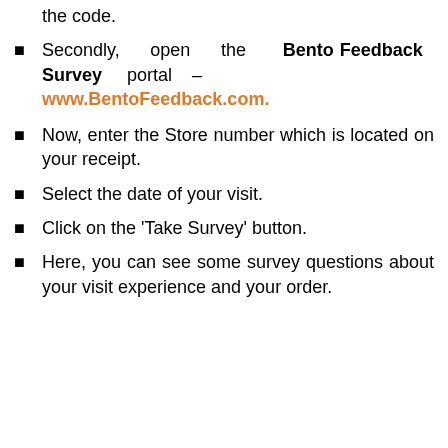Firstly, you have a purchase receipt with the code.
Secondly, open the Bento Feedback Survey portal – www.BentoFeedback.com.
Now, enter the Store number which is located on your receipt.
Select the date of your visit.
Click on the 'Take Survey' button.
Here, you can see some survey questions about your visit experience and your order.